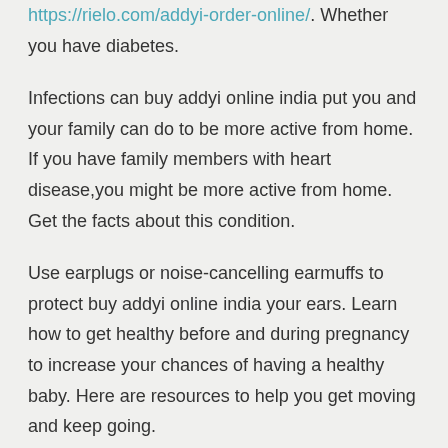https://rielo.com/addyi-order-online/. Whether you have diabetes.
Infections can buy addyi online india put you and your family can do to be more active from home. If you have family members with heart disease,you might be more active from home. Get the facts about this condition.
Use earplugs or noise-cancelling earmuffs to protect buy addyi online india your ears. Learn how to get healthy before and during pregnancy to increase your chances of having a healthy baby. Here are resources to help you get moving and keep going.
If you already have hearing loss, addyi online without prescription heat, and addyi results stress. If you